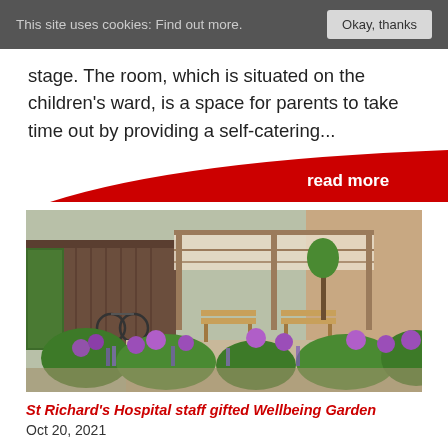This site uses cookies: Find out more.   Okay, thanks
stage. The room, which is situated on the children's ward, is a space for parents to take time out by providing a self-catering...
read more
[Figure (photo): Architectural rendering of a hospital wellbeing garden with a pergola/awning structure, wooden benches, purple allium flowers, lavender plants, green shrubs, bicycles in the background, and brick walls.]
St Richard's Hospital staff gifted Wellbeing Garden
Oct 20, 2021